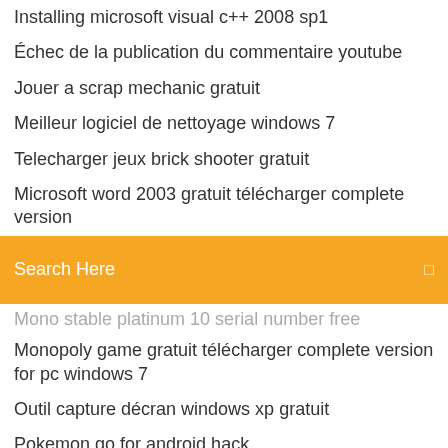Installing microsoft visual c++ 2008 sp1
Échec de la publication du commentaire youtube
Jouer a scrap mechanic gratuit
Meilleur logiciel de nettoyage windows 7
Telecharger jeux brick shooter gratuit
Microsoft word 2003 gratuit télécharger complete version
[Figure (screenshot): Search bar with orange background and text 'Search Here' with a search icon on the right]
Mono stable platinum 10 serial number free
Monopoly game gratuit télécharger complete version for pc windows 7
Outil capture décran windows xp gratuit
Pokemon go for android hack
Samsung smart view tv support
Mettre une vidéo sur ipad
Telecharger pilote samsung galaxy s7
Mon pc portable ne detecte pas le wifi windows 10
Comment accéder à ma messagerie outlook
Agrandir une image sans perte de qualité photofiltre